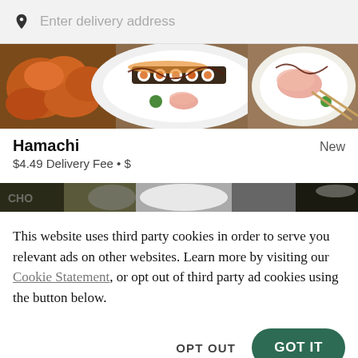Enter delivery address
[Figure (photo): Food photo showing sushi rolls and Japanese dishes on white plates with sauce drizzles]
Hamachi
New
$4.49 Delivery Fee • $
[Figure (photo): Partial food image strip showing Japanese restaurant food items]
This website uses third party cookies in order to serve you relevant ads on other websites. Learn more by visiting our Cookie Statement, or opt out of third party ad cookies using the button below.
OPT OUT
GOT IT